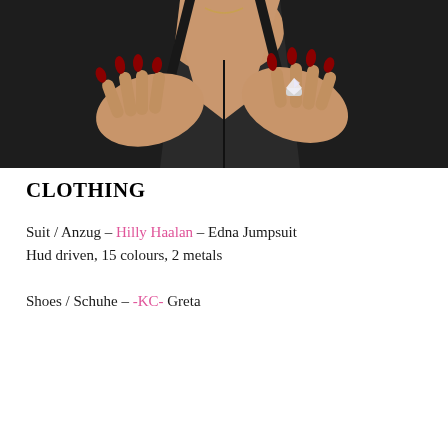[Figure (photo): Close-up photo of a female avatar/person wearing a black jumpsuit with deep V-neckline, hands with dark red nails placed on chest, wearing a diamond ring on right hand]
CLOTHING
Suit / Anzug – Hilly Haalan – Edna Jumpsuit
Hud driven, 15 colours, 2 metals
Shoes / Schuhe – -KC- Greta